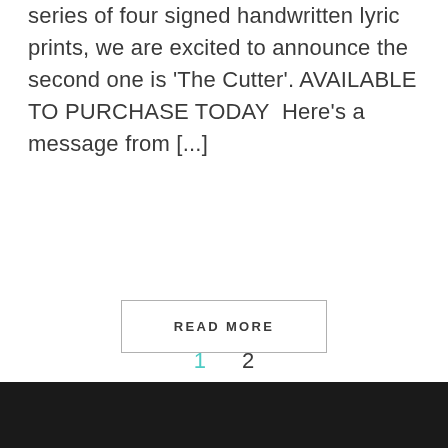series of four signed handwritten lyric prints, we are excited to announce the second one is 'The Cutter'. AVAILABLE TO PURCHASE TODAY  Here's a message from [...]
READ MORE
1  2